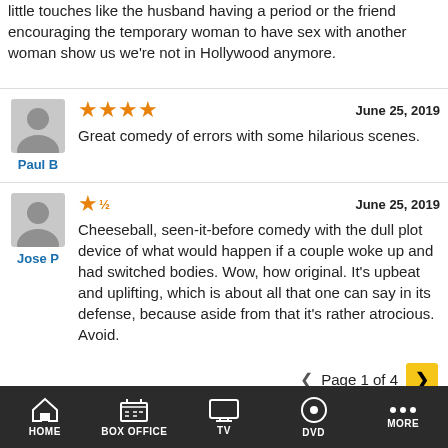little touches like the husband having a period or the friend encouraging the temporary woman to have sex with another woman show us we're not in Hollywood anymore.
[Figure (other): User avatar silhouette icon for Paul B]
Paul B
★★★★ June 25, 2019
Great comedy of errors with some hilarious scenes.
[Figure (other): User avatar silhouette icon for Jose P]
Jose P
★½ June 25, 2019
Cheeseball, seen-it-before comedy with the dull plot device of what would happen if a couple woke up and had switched bodies. Wow, how original. It's upbeat and uplifting, which is about all that one can say in its defense, because aside from that it's rather atrocious. Avoid.
Page 1 of 4
HOME  BOX OFFICE  TV  DVD  MORE